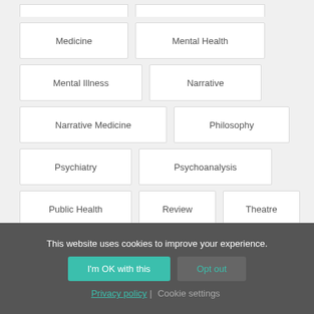Medicine
Mental Health
Mental Illness
Narrative
Narrative Medicine
Philosophy
Psychiatry
Psychoanalysis
Public Health
Review
Theatre
This website uses cookies to improve your experience.
I'm OK with this
Opt out
Privacy policy | Cookie settings